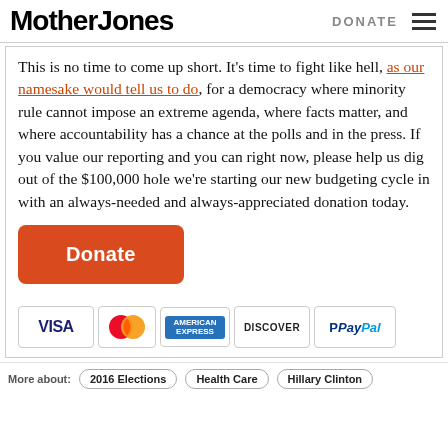Mother Jones | DONATE
This is no time to come up short. It's time to fight like hell, as our namesake would tell us to do, for a democracy where minority rule cannot impose an extreme agenda, where facts matter, and where accountability has a chance at the polls and in the press. If you value our reporting and you can right now, please help us dig out of the $100,000 hole we're starting our new budgeting cycle in with an always-needed and always-appreciated donation today.
[Figure (other): Orange Donate button followed by payment method icons: VISA, MasterCard, American Express, Discover, PayPal]
More about: 2016 Elections  Health Care  Hillary Clinton